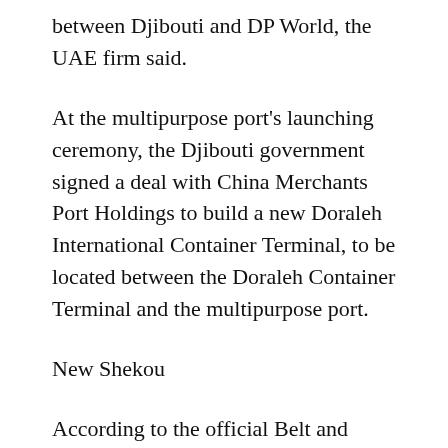between Djibouti and DP World, the UAE firm said.
At the multipurpose port's launching ceremony, the Djibouti government signed a deal with China Merchants Port Holdings to build a new Doraleh International Container Terminal, to be located between the Doraleh Container Terminal and the multipurpose port.
New Shekou
According to the official Belt and Road Initiative website, the then Executive Director and Vice Chairman of China Merchants Port